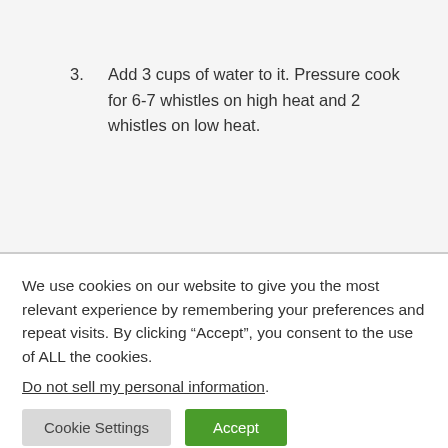3. Add 3 cups of water to it. Pressure cook for 6-7 whistles on high heat and 2 whistles on low heat.
We use cookies on our website to give you the most relevant experience by remembering your preferences and repeat visits. By clicking “Accept”, you consent to the use of ALL the cookies.
Do not sell my personal information.
Cookie Settings   Accept